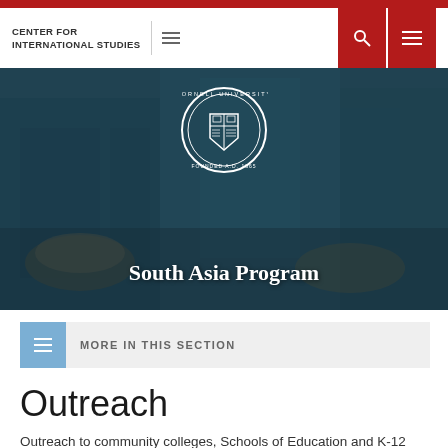CENTER FOR INTERNATIONAL STUDIES
[Figure (photo): Hero banner image of a South Asian market scene with a person, baskets of produce, and a bicycle, overlaid with a dark teal tint. Cornell University seal and 'South Asia Program' title centered over the image.]
South Asia Program
MORE IN THIS SECTION
Outreach
Outreach to community colleges, Schools of Education and K-12